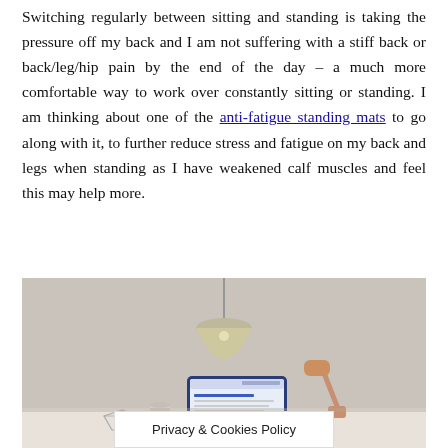Switching regularly between sitting and standing is taking the pressure off my back and I am not suffering with a stiff back or back/leg/hip pain by the end of the day – a much more comfortable way to work over constantly sitting or standing. I am thinking about one of the anti-fatigue standing mats to go along with it, to further reduce stress and fatigue on my back and legs when standing as I have weakened calf muscles and feel this may help more.
[Figure (photo): A desk workspace photo showing a pendant lamp hanging from the ceiling, a tablet/laptop displaying a website, a rose-gold desk lamp, and some decorative objects on a white desk surface, against a light beige/grey wall.]
Privacy & Cookies Policy